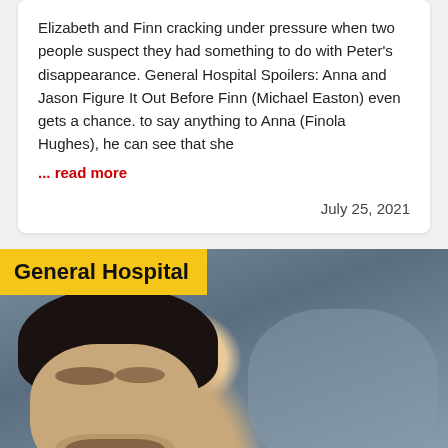Elizabeth and Finn cracking under pressure when two people suspect they had something to do with Peter's disappearance. General Hospital Spoilers: Anna and Jason Figure It Out Before Finn (Michael Easton) even gets a chance. to say anything to Anna (Finola Hughes), he can see that she
... read more
July 25, 2021
[Figure (photo): A man with dark hair and a goatee/stubble beard, shown in close-up profile/three-quarter view, with a blurred background. A yellow banner overlay in the top-left reads 'General Hospital'.]